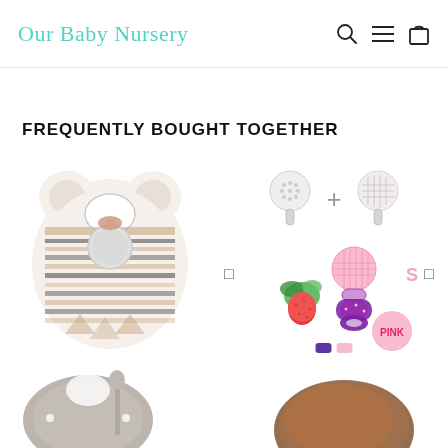Our Baby Nursery
FREQUENTLY BOUGHT TOGETHER
[Figure (photo): Baby bib with decorative ethnic/aztec pattern in black, white and rose gold, with a round mirror on the chest area]
[Figure (photo): Baby fruit feeder pacifier set with two silicone teether tops and a pink/purple handled fruit feeder with fresh strawberries and leaves. Size selector showing S. Color swatches in purple and pink. PINK label visible.]
[Figure (photo): Grey silicone baby bib with a small spoon, shown from above, partially visible at bottom of page]
[Figure (photo): Brown leather or silicone baby item, partially visible at bottom right of page]